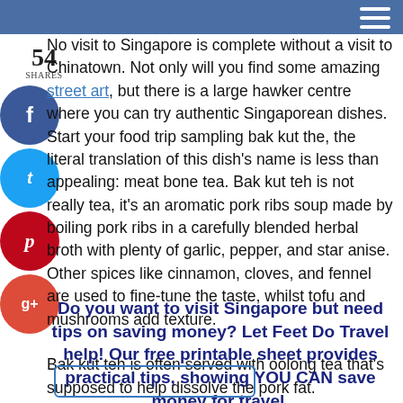No visit to Singapore is complete without a visit to Chinatown. Not only will you find some amazing street art, but there is a large hawker centre where you can try authentic Singaporean dishes. Start your food trip sampling bak kut the, the literal translation of this dish's name is less than appealing: meat bone tea. Bak kut teh is not really tea, it's an aromatic pork ribs soup made by boiling pork ribs in a carefully blended herbal broth with plenty of garlic, pepper, and star anise. Other spices like cinnamon, cloves, and fennel are used to fine-tune the taste, whilst tofu and mushrooms add texture.
Bak kut teh is often served with oolong tea that's supposed to help dissolve the pork fat.
Do you want to visit Singapore but need tips on saving money? Let Feet Do Travel help! Our free printable sheet provides practical tips, showing YOU CAN save money for travel.